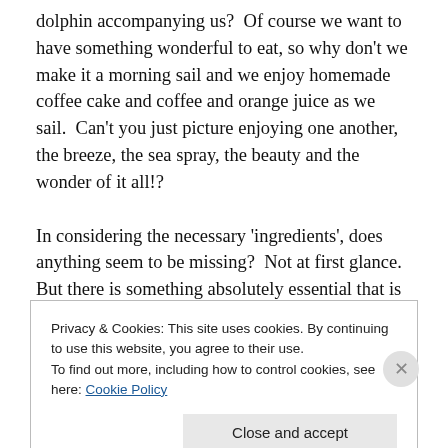dolphin accompanying us?  Of course we want to have something wonderful to eat, so why don't we make it a morning sail and we enjoy homemade coffee cake and coffee and orange juice as we sail.  Can't you just picture enjoying one another, the breeze, the sea spray, the beauty and the wonder of it all!?
In considering the necessary 'ingredients', does anything seem to be missing?  Not at first glance.  But there is something absolutely essential that is taken for granted in
Privacy & Cookies: This site uses cookies. By continuing to use this website, you agree to their use.
To find out more, including how to control cookies, see here: Cookie Policy